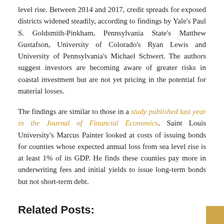level rise. Between 2014 and 2017, credit spreads for exposed districts widened steadily, according to findings by Yale's Paul S. Goldsmith-Pinkham, Pennsylvania State's Matthew Gustafson, University of Colorado's Ryan Lewis and University of Pennsylvania's Michael Schwert. The authors suggest investors are becoming aware of greater risks in coastal investment but are not yet pricing in the potential for material losses.
The findings are similar to those in a study published last year in the Journal of Financial Economics. Saint Louis University's Marcus Painter looked at costs of issuing bonds for counties whose expected annual loss from sea level rise is at least 1% of its GDP. He finds these counties pay more in underwriting fees and initial yields to issue long-term bonds but not short-term debt.
Related Posts:
Sri Lanka worries Beijing over Chinese doormats displaying its national flag, South Asia News